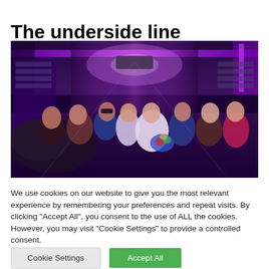The underside line
[Figure (photo): Interior of a party bus with purple LED lighting, filled with a group of celebrating people including a bride in white dress holding a colorful bouquet, others smiling and laughing.]
We use cookies on our website to give you the most relevant experience by remembering your preferences and repeat visits. By clicking "Accept All", you consent to the use of ALL the cookies. However, you may visit "Cookie Settings" to provide a controlled consent.
Cookie Settings | Accept All